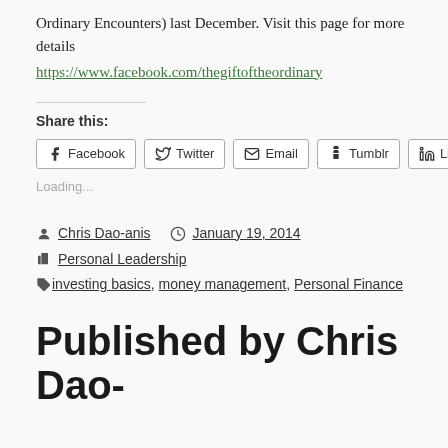Ordinary Encounters) last December. Visit this page for more details
https://www.facebook.com/thegiftoftheordinary
Share this:
[Figure (other): Social share buttons: Facebook, Twitter, Email, Tumblr, LinkedIn]
Loading...
Chris Dao-anis   January 19, 2014
Personal Leadership
investing basics , money management , Personal Finance
Published by Chris Dao-